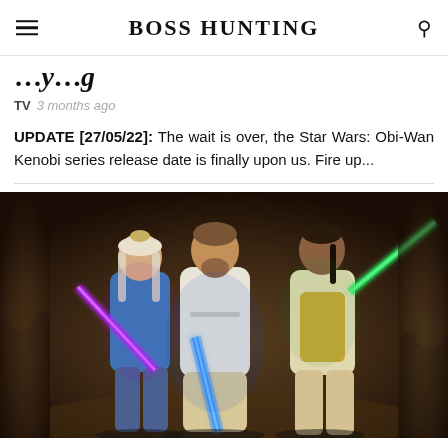BOSS HUNTING
…y…g
TV  3 months ago
UPDATE [27/05/22]: The wait is over, the Star Wars: Obi-Wan Kenobi series release date is finally upon us. Fire up...
[Figure (illustration): Digital artwork showing three Jedi knights standing in battle-ready poses. Left figure is a woman with white hair and a head covering wielding a purple lightsaber. Center figure is a bearded man in a white robe wielding a blue lightsaber. Right figure is a man in cream/gold robes wielding a green lightsaber. Background is dark brown with additional figures partially visible at the edges.]